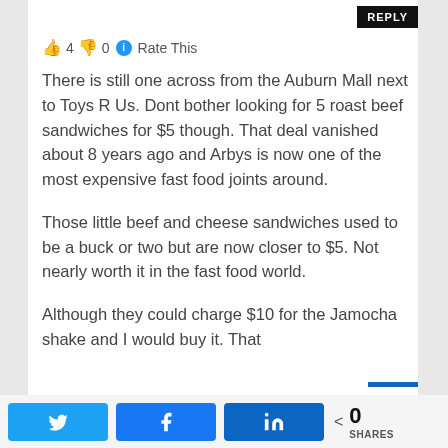REPLY
👍 4 👎 0 ℹ Rate This
There is still one across from the Auburn Mall next to Toys R Us. Dont bother looking for 5 roast beef sandwiches for $5 though. That deal vanished about 8 years ago and Arbys is now one of the most expensive fast food joints around.
Those little beef and cheese sandwiches used to be a buck or two but are now closer to $5. Not nearly worth it in the fast food world.
Although they could charge $10 for the Jamocha shake and I would buy it. That